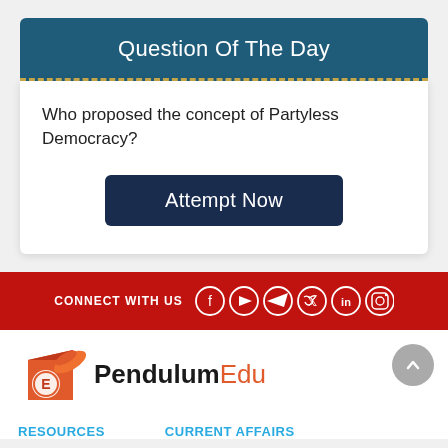Question Of The Day
Who proposed the concept of Partyless Democracy?
Attempt Now
[Figure (infographic): Red banner with CONNECT WITH US text and social media icons: Facebook, YouTube, Telegram, Twitter, LinkedIn, Instagram]
[Figure (logo): PendulumEdu logo with orange bird/pen graphic and PendulumEdu text]
RESOURCES   CURRENT AFFAIRS